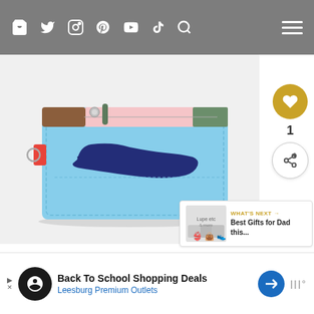[Figure (screenshot): Website navigation bar with social media icons (bag, Twitter, Instagram, Pinterest, YouTube, TikTok, Search) on gray background with hamburger menu on right]
[Figure (photo): Light blue leather card holder/wallet with navy blue brushstroke design, green zipper pull, pink accent strip at top, red side pull tab with D-ring, and silver zipper hardware]
[Figure (other): Gold circular heart/like button showing count of 1, and white circular share button with share icon]
[Figure (other): What's Next widget showing thumbnail images and text: Best Gifts for Dad this...]
Back To School Shopping Deals
Leesburg Premium Outlets